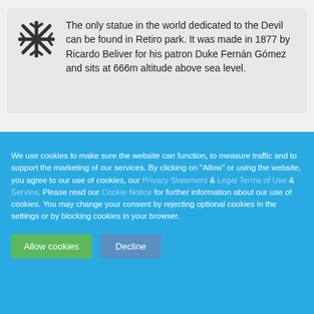The only statue in the world dedicated to the Devil can be found in Retiro park. It was made in 1877 by Ricardo Beliver for his patron Duke Fernán Gómez and sits at 666m altitude above sea level.
We use cookies to make sure the website can function, to measure traffic and to support the marketing of our services. By clicking on "Allow" or using the website, you agree to our use of cookies, our Privacy Statement & Legal Terms of Use & Service. Please read our Cookie Notice for further information about our use of cookies. You may change your consent by rejecting optional cookies in the settings or by blocking cookies in your browser.